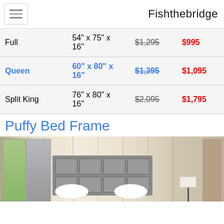Fishthebridge
|  | Dimensions | Original Price | Sale Price |
| --- | --- | --- | --- |
| Full | 54" x 75" x 16" | $1,295 | $995 |
| Queen | 60" x 80" x 16" | $1,395 | $1,095 |
| Split King | 76" x 80" x 16" | $2,095 | $1,795 |
Puffy Bed Frame
[Figure (photo): Puffy Bed Frame in a bedroom setting with upholstered gray headboard, white pillows, curtains, and lamp]